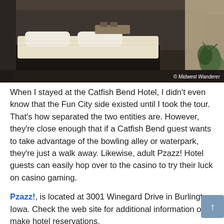[Figure (photo): Hotel room interior at Catfish Bend Hotel showing a bed with white linens, dark carpet, curtains, and a plant. Copyright watermark reads '© Midwest Wanderer'.]
When I stayed at the Catfish Bend Hotel, I didn't even know that the Fun City side existed until I took the tour. That's how separated the two entities are. However, they're close enough that if a Catfish Bend guest wants to take advantage of the bowling alley or waterpark, they're just a walk away. Likewise, adult Pzazz! Hotel guests can easily hop over to the casino to try their luck on casino gaming.
Pzazz!, is located at 3001 Winegard Drive in Burlington Iowa. Check the web site for additional information or to make hotel reservations.
Disclosure: My visit to Pzazz! was hosted by the Iowa Tourism Office, but any opinions expressed in this post are